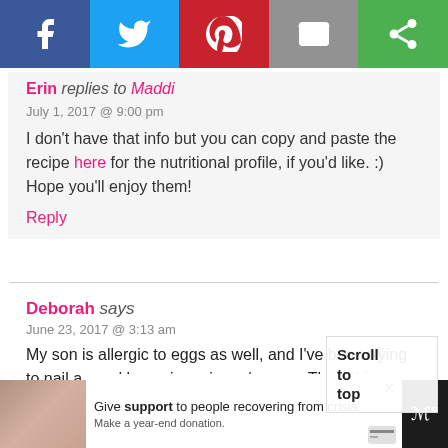[Figure (infographic): Social share bar with Facebook (blue), Twitter (light blue), Pinterest (red), Email (gray), and another icon (green)]
Erin replies to Maddi
July 1, 2017 @ 9:00 pm

I don't have that info but you can copy and paste the recipe here for the nutritional profile, if you'd like. :) Hope you'll enjoy them!

Reply
Deborah says
June 23, 2017 @ 3:13 am

My son is allergic to eggs as well, and I've been trying to nail a good brownie recipe w/o eggs. Think this would work with Ener-G egg replace...